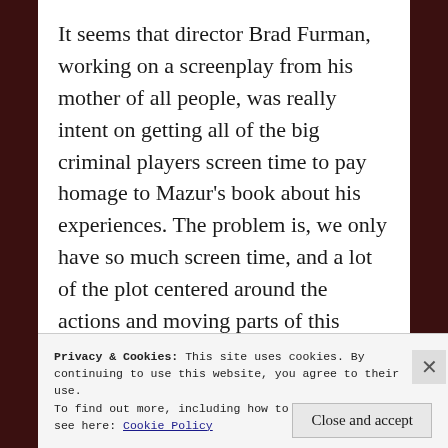It seems that director Brad Furman, working on a screenplay from his mother of all people, was really intent on getting all of the big criminal players screen time to pay homage to Mazur's book about his experiences. The problem is, we only have so much screen time, and a lot of the plot centered around the actions and moving parts of this under cover operation seem pretty hazy. The ending makes perfect sense, and so do the context clues because this film is nothing substantially new, but the execution on the intricate detail leaves a bit to be desired.
Privacy & Cookies: This site uses cookies. By continuing to use this website, you agree to their use.
To find out more, including how to control cookies, see here: Cookie Policy